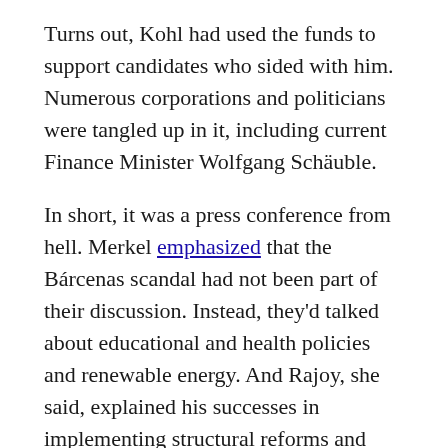Turns out, Kohl had used the funds to support candidates who sided with him. Numerous corporations and politicians were tangled up in it, including current Finance Minister Wolfgang Schäuble.
In short, it was a press conference from hell. Merkel emphasized that the Bárcenas scandal had not been part of their discussion. Instead, they'd talked about educational and health policies and renewable energy. And Rajoy, she said, explained his successes in implementing structural reforms and fighting unemployment....
Alas, Spain's unemployment rate hit 26% in December, leaving 5.97 million people unemployed, up from 5.27 million when Rajoy took office in late 2011. Youth unemployment surged to 55.1%. On Monday, more bad